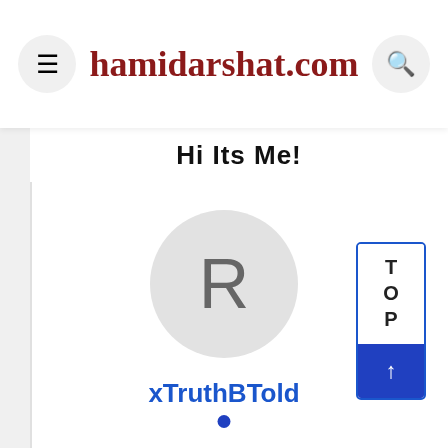hamidarshat.com
Hi Its Me!
[Figure (illustration): User avatar placeholder circle with letter R]
xTruthBTold
[Figure (other): TOP button with upward arrow in blue, positioned on right side]